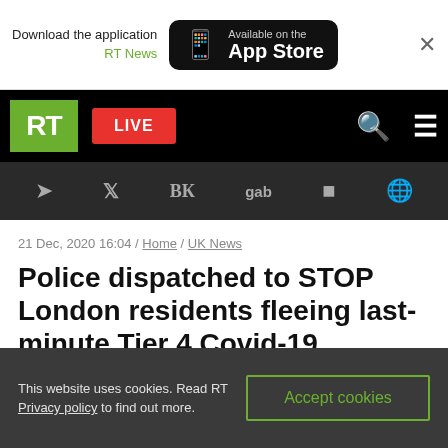Download the application RT News — Available on the App Store
[Figure (screenshot): RT News navigation bar with green RT logo, red LIVE button, search and menu icons]
[Figure (screenshot): Social media icons bar: Telegram, Twitter, VK, gab, Rumble, and globe icon on dark background]
21 Dec, 2020 16:04 / Home / UK News
Police dispatched to STOP London residents fleeing last-minute Tier 4 Covid-19 restrictions
This website uses cookies. Read RT Privacy policy to find out more.